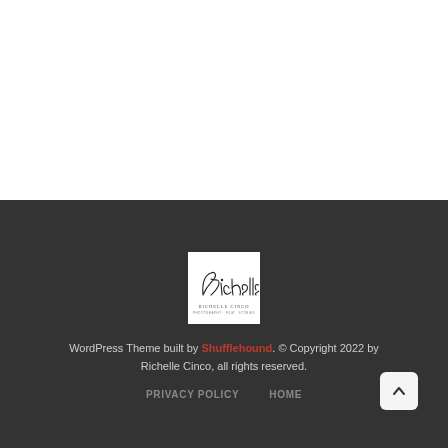[Figure (logo): White square with handwritten script signature logo for Richelle Cinco photography]
WordPress Theme built by Shufflehound. © Copyright 2022 by Richelle Cinco, all rights reserved.
PRIVACY POLICY   HOME